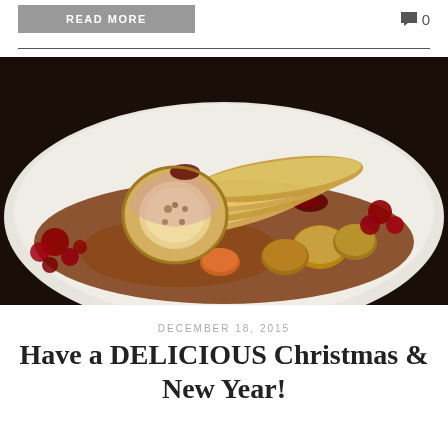READ MORE
0
[Figure (photo): A plated Christmas dinner dish showing sliced turkey or chicken breast, a stuffed roulade, roasted vegetables including potatoes and carrots, cranberry sauce, and a rich brown gravy on a white plate.]
DECEMBER 18, 2015
Have a DELICIOUS Christmas & New Year!